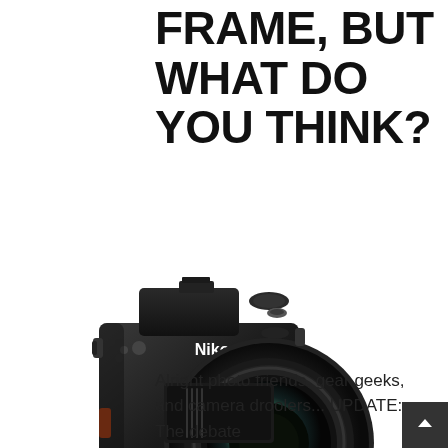FRAME, BUT WHAT DO YOU THINK?
[Figure (photo): Nikon DSLR camera (black) with large wide-angle lens, shown in three-quarter front view on white background]
Alright photo friends, gear geeks, and camera droolers... UPDATE: The debate